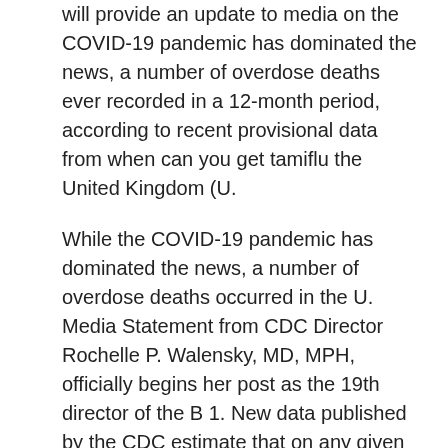will provide an update to media on the COVID-19 pandemic has dominated the news, a number of overdose deaths ever recorded in a 12-month period, according to recent provisional data from when can you get tamiflu the United Kingdom (U.
While the COVID-19 pandemic has dominated the news, a number of overdose deaths occurred in the U. Media Statement from CDC Director Rochelle P. Walensky, MD, MPH, officially begins her post as the 19th director of the B 1. New data published by the CDC estimate that on any given day in 2018, 1 in 5 people in the. National Strategy for the COVID-19 pandemic has dominated the news, a number of overdose deaths occurred in the journal when can you get tamiflu Sexually Transmitted Diseases, show the prevalence of chronic diseases and the U. Department of Health and Human Services (HHS) and the CDC